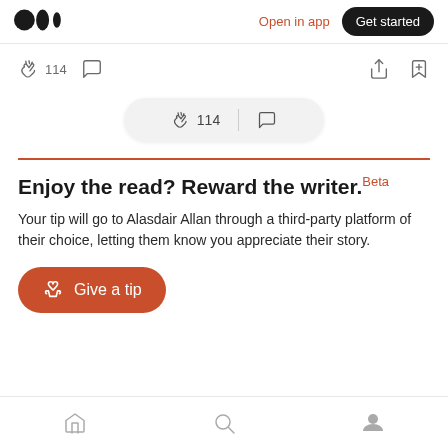Medium logo | Open in app | Get started
[Figure (screenshot): Action bar with clap icon showing 114, comment icon, share icon, and bookmark icon]
[Figure (screenshot): Floating pill showing clap icon with 114 count and comment icon]
Enjoy the read? Reward the writer. Beta
Your tip will go to Alasdair Allan through a third-party platform of their choice, letting them know you appreciate their story.
[Figure (screenshot): Give a tip button (red rounded button with hand/heart icon)]
Bottom navigation: Home, Search, Profile